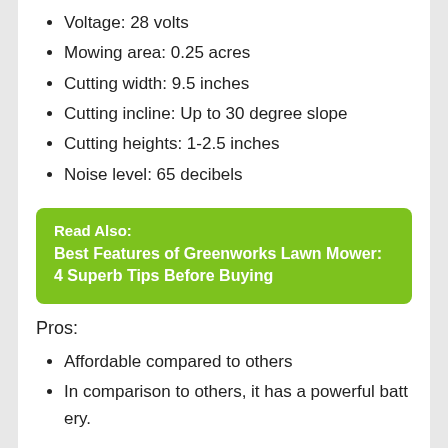Voltage: 28 volts
Mowing area: 0.25 acres
Cutting width: 9.5 inches
Cutting incline: Up to 30 degree slope
Cutting heights: 1-2.5 inches
Noise level: 65 decibels
Read Also: Best Features of Greenworks Lawn Mower: 4 Superb Tips Before Buying
Pros:
Affordable compared to others
In comparison to others, it has a powerful battery.